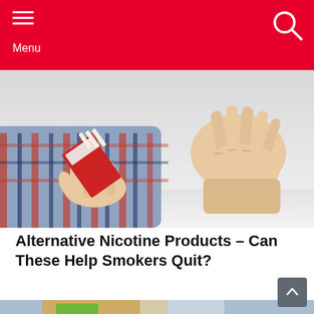Menu
[Figure (photo): A hand offering a pack of cigarettes to another hand that is pushing it away, with a white surface background.]
Alternative Nicotine Products – Can These Help Smokers Quit?
[Figure (photo): Colorful Nike sneakers (low-top trainers) with orange, green, yellow, and floral motifs displayed in a pair.]